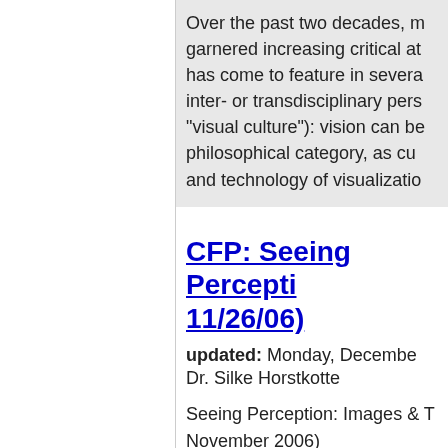Over the past two decades, m... garnered increasing critical at... has come to feature in severa... inter- or transdisciplinary pers... "visual culture"): vision can b... philosophical category, as cu... and technology of visualizatio...
CFP: Seeing Percepti... 11/26/06)
updated: Monday, Decembe...
Dr. Silke Horstkotte
Seeing Perception: Images & T... November 2006)
Over the past two decades, m...